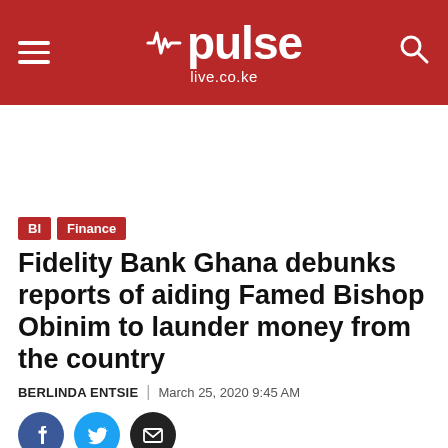pulse live.co.ke
[Figure (other): Advertisement / blank space]
BI | Finance
Fidelity Bank Ghana debunks reports of aiding Famed Bishop Obinim to launder money from the country
BERLINDA ENTSIE | March 25, 2020 9:45 AM
[Figure (other): Social share buttons: Facebook, Twitter, Email]
Fidelity Bank Ghana debunks reports of aiding...